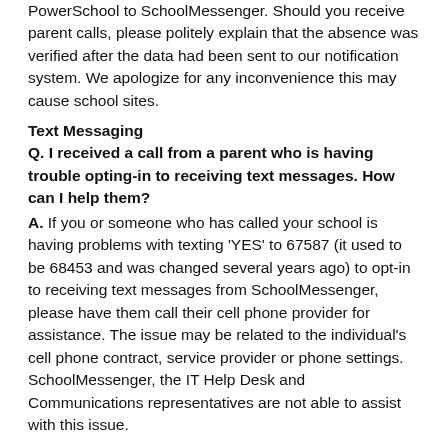PowerSchool to SchoolMessenger. Should you receive parent calls, please politely explain that the absence was verified after the data had been sent to our notification system. We apologize for any inconvenience this may cause school sites.
Text Messaging
Q. I received a call from a parent who is having trouble opting-in to receiving text messages. How can I help them?
A. If you or someone who has called your school is having problems with texting 'YES' to 67587 (it used to be 68453 and was changed several years ago) to opt-in to receiving text messages from SchoolMessenger, please have them call their cell phone provider for assistance. The issue may be related to the individual's cell phone contract, service provider or phone settings. SchoolMessenger, the IT Help Desk and Communications representatives are not able to assist with this issue.
Blocking